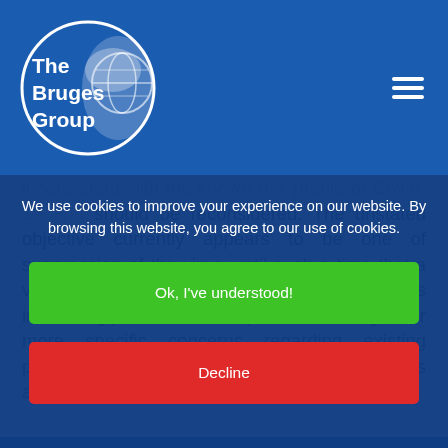[Figure (logo): The Bruges Group logo — white text 'The Bruges Group' with globe illustration inside a circle, on dark blue background, with hamburger menu icon top right]
inconsistent with the known risk profile of Covid-19 and should be reconsidered. The unstated objective currently appears to be one of suppression of the virus, until such a time that a vaccine can be deployed. This objective is increasingly unfeasible (notwithstanding our more specific concerns regarding existing policies) and is leading to significant harm across all age groups, which likely offsets any benefits."
We use cookies to improve your experience on our website. By browsing this website, you agree to our use of cookies.
Ok, I've understood!
Decline